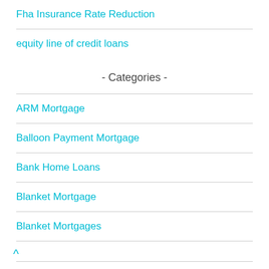Fha Insurance Rate Reduction
equity line of credit loans
- Categories -
ARM Mortgage
Balloon Payment Mortgage
Bank Home Loans
Blanket Mortgage
Blanket Mortgages
^
Business Mortgage